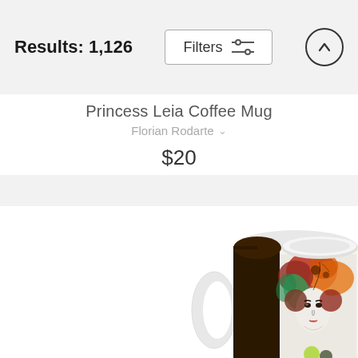Results: 1,126
Filters
Princess Leia Coffee Mug
Florian Rodarte
$20
[Figure (photo): A white ceramic coffee mug featuring artwork of Princess Leia with colorful abstract floral/poppy design around her face in red, orange, green and dark tones against a light background. The mug has a dark brown/black side visible on the left.]